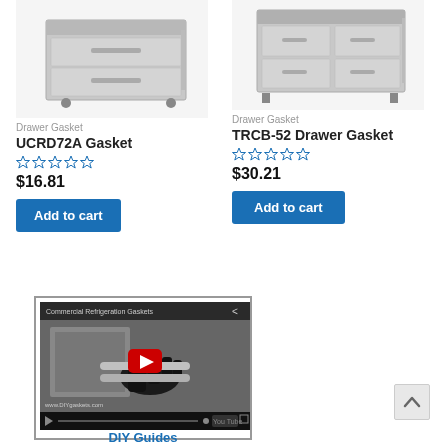[Figure (photo): Commercial refrigerator drawer unit with stainless steel drawers on casters — left product image for UCRD72A Gasket]
[Figure (photo): Commercial refrigerator drawer unit with stainless steel drawers — right product image for TRCB-52 Drawer Gasket]
Drawer Gasket
Drawer Gasket
UCRD72A Gasket
TRCB-52 Drawer Gasket
$16.81
$30.21
Add to cart
Add to cart
[Figure (screenshot): YouTube video thumbnail showing Commercial Refrigeration Gaskets with a gloved hand working on a refrigerator, with red play button overlay]
DIY Guides